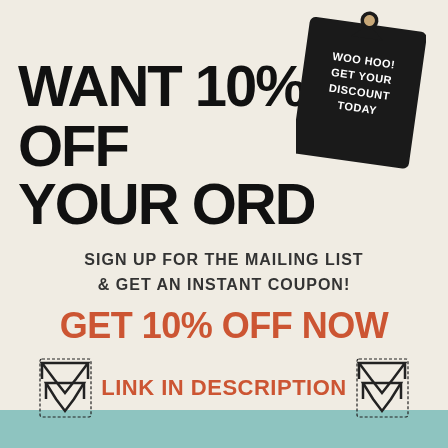WANT 10% OFF YOUR ORDER?
[Figure (illustration): Black price tag with white text reading: WOO HOO! GET YOUR DISCOUNT TODAY, with a hole at the top and a string]
SIGN UP FOR THE MAILING LIST & GET AN INSTANT COUPON!
GET 10% OFF NOW
LINK IN DESCRIPTION